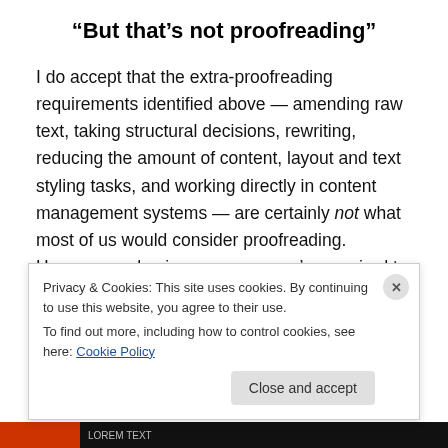“But that’s not proofreading”
I do accept that the extra-proofreading requirements identified above — amending raw text, taking structural decisions, rewriting, reducing the amount of content, layout and text styling tasks, and working directly in content management systems — are certainly not what most of us would consider proofreading. However, as business owners, we’re required to communicate with our clients in a way that makes them believe we can solve their problems.
Privacy & Cookies: This site uses cookies. By continuing to use this website, you agree to their use.
To find out more, including how to control cookies, see here: Cookie Policy